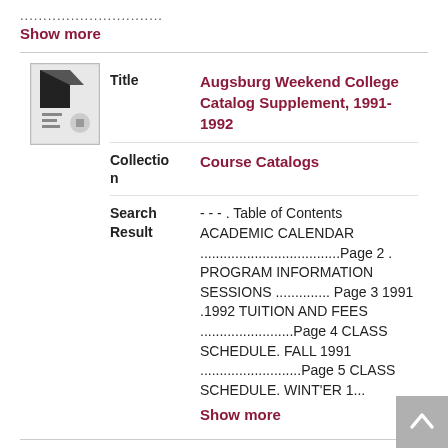............................
Show more
| Field | Value |
| --- | --- |
| Title | Augsburg Weekend College Catalog Supplement, 1991-1992 |
| Collection | Course Catalogs |
| Search Result | - - - . Table of Contents ACADEMIC CALENDAR ....................................Page 2 . PROGRAM INFORMATION SESSIONS ............. Page 3 1991 .1992 TUITION AND FEES .........................Page 4 CLASS SCHEDULE. FALL 1991 ..........................Page 5 CLASS SCHEDULE. WINT'ER 1... |
Show more
Title
Augsburg Weekend College